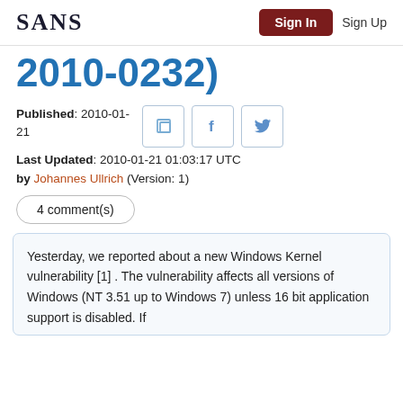SANS | Sign In | Sign Up
2010-0232)
Published: 2010-01-21
Last Updated: 2010-01-21 01:03:17 UTC
by Johannes Ullrich (Version: 1)
4 comment(s)
Yesterday, we reported about a new Windows Kernel vulnerability [1] . The vulnerability affects all versions of Windows (NT 3.51 up to Windows 7) unless 16 bit application support is disabled. If